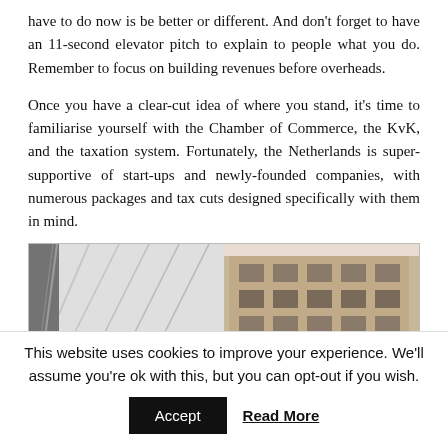have to do now is be better or different. And don't forget to have an 11-second elevator pitch to explain to people what you do. Remember to focus on building revenues before overheads.
Once you have a clear-cut idea of where you stand, it's time to familiarise yourself with the Chamber of Commerce, the KvK, and the taxation system. Fortunately, the Netherlands is super-supportive of start-ups and newly-founded companies, with numerous packages and tax cuts designed specifically with them in mind.
[Figure (photo): A partial photograph showing architectural elements — what appears to be a building interior with diagonal lines on the left and a building exterior/facade on the right, in muted grey and beige tones.]
This website uses cookies to improve your experience. We'll assume you're ok with this, but you can opt-out if you wish.
Accept   Read More